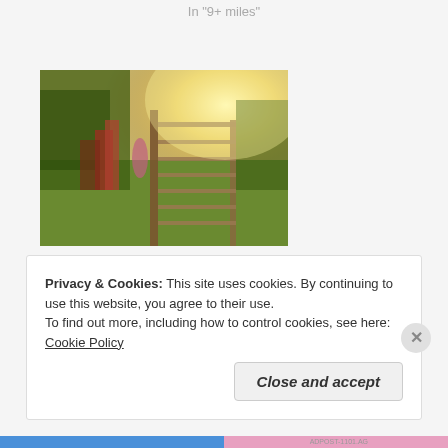In "9+ miles"
[Figure (photo): Outdoor countryside scene with sunlight through a metal farm gate and hedgerow with reddish plants]
Walk 86 – Ayrshire Smugglers Trail: Dundonald to Troon – 6.3 miles
August 31, 2016
In "6-9 miles"
Privacy & Cookies: This site uses cookies. By continuing to use this website, you agree to their use.
To find out more, including how to control cookies, see here: Cookie Policy
Close and accept